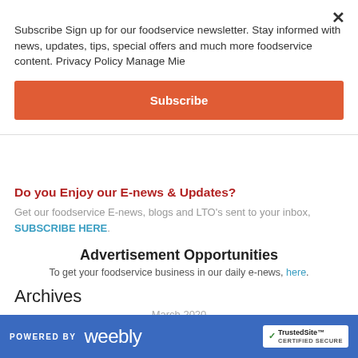Subscribe Sign up for our foodservice newsletter. Stay informed with news, updates, tips, special offers and much more foodservice content. Privacy Policy Manage Mie
Subscribe
Do you Enjoy our E-news & Updates?
Get our foodservice E-news, blogs and LTO's sent to your inbox, SUBSCRIBE HERE.
Advertisement Opportunities
To get your foodservice business in our daily e-news, here.
Archives
March 2020
January 2020
POWERED BY weebly  TrustedSite CERTIFIED SECURE